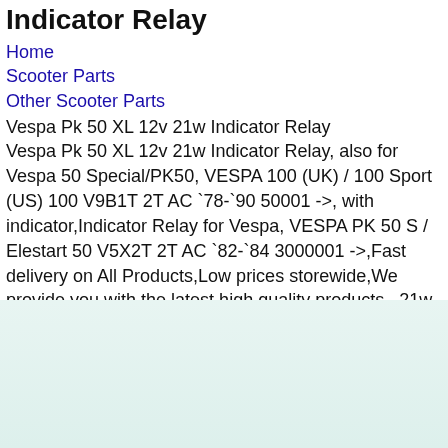Indicator Relay
Home
Scooter Parts
Other Scooter Parts
Vespa Pk 50 XL 12v 21w Indicator Relay
Vespa Pk 50 XL 12v 21w Indicator Relay, also for Vespa 50 Special/PK50, VESPA 100 (UK) / 100 Sport (US) 100 V9B1T 2T AC `78-`90 50001 ->, with indicator,Indicator Relay for Vespa, VESPA PK 50 S / Elestart 50 V5X2T 2T AC `82-`84 3000001 ->,Fast delivery on All Products,Low prices storewide,We provide you with the latest high quality products., 21w Indicator Relay Vespa Pk 50 XL 12v, 12v 21w Indicator Relay Vespa Pk 50 XL.